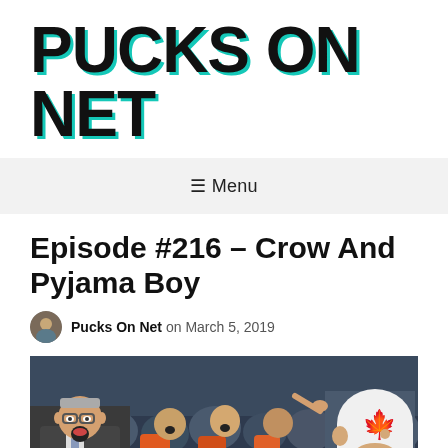PUCKS ON NET
≡ Menu
Episode #216 – Crow And Pyjama Boy
Pucks On Net on March 5, 2019
[Figure (photo): A hockey crowd scene with a coach or commentator shouting on the left, fans cheering behind, and a person wearing a white Toronto Maple Leafs helmet on the right side.]